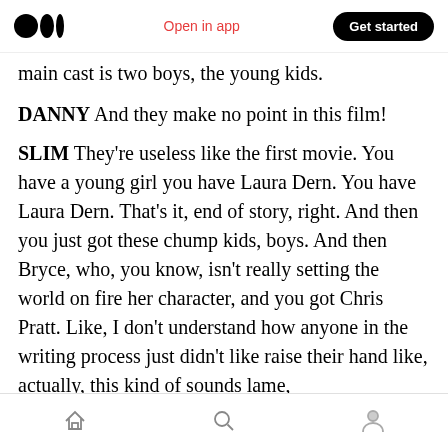Medium logo | Open in app | Get started
main cast is two boys, the young kids.
DANNY And they make no point in this film!
SLIM They're useless like the first movie. You have a young girl you have Laura Dern. You have Laura Dern. That's it, end of story, right. And then you just got these chump kids, boys. And then Bryce, who, you know, isn't really setting the world on fire her character, and you got Chris Pratt. Like, I don't understand how anyone in the writing process just didn't like raise their hand like, actually, this kind of sounds lame,
Home | Search | Profile